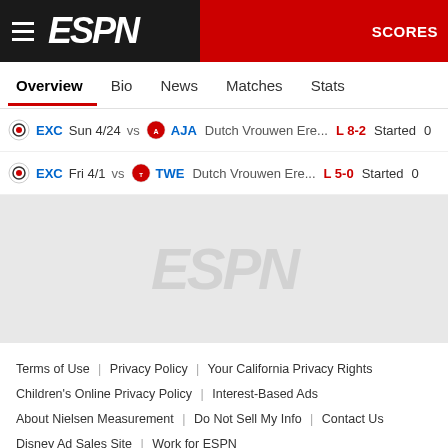ESPN SCORES
Overview | Bio | News | Matches | Stats
| Team | Date | vs | Opponent | League | Result | Status | Stat |  |
| --- | --- | --- | --- | --- | --- | --- | --- | --- |
| EXC | Sun 4/24 | vs | AJA | Dutch Vrouwen Ere... | L 8-2 | Started | 0 |  |
| EXC | Fri 4/1 | vs | TWE | Dutch Vrouwen Ere... | L 5-0 | Started | 0 |  |
[Figure (logo): ESPN watermark logo in gray on light gray background]
Terms of Use | Privacy Policy | Your California Privacy Rights | Children's Online Privacy Policy | Interest-Based Ads | About Nielsen Measurement | Do Not Sell My Info | Contact Us | Disney Ad Sales Site | Work for ESPN | Copyright: © ESPN Enterprises, Inc. All rights reserved.